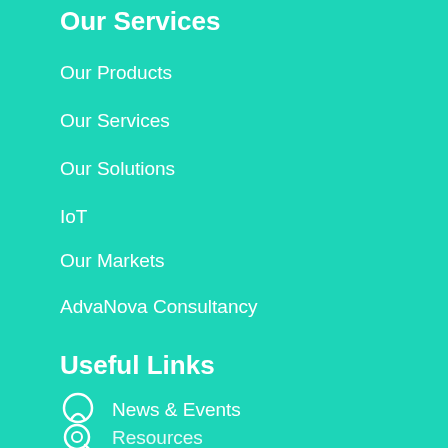Our Services
Our Products
Our Services
Our Solutions
IoT
Our Markets
AdvaNova Consultancy
Useful Links
News & Events
Resources
Newsletter Signup